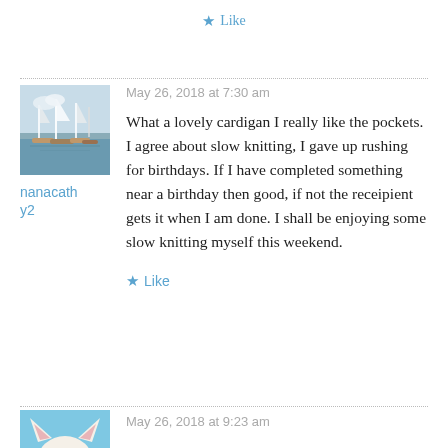Like
May 26, 2018 at 7:30 am
What a lovely cardigan I really like the pockets. I agree about slow knitting, I gave up rushing for birthdays. If I have completed something near a birthday then good, if not the receipient gets it when I am done. I shall be enjoying some slow knitting myself this weekend.
Like
May 26, 2018 at 9:23 am